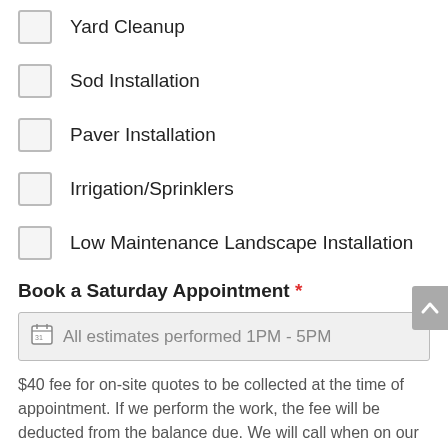Yard Cleanup
Sod Installation
Paver Installation
Irrigation/Sprinklers
Low Maintenance Landscape Installation
Book a Saturday Appointment *
All estimates performed 1PM - 5PM
$40 fee for on-site quotes to be collected at the time of appointment. If we perform the work, the fee will be deducted from the balance due. We will call when on our way. Please call to make weekday appointments.
I agree to the above information *
Book Now